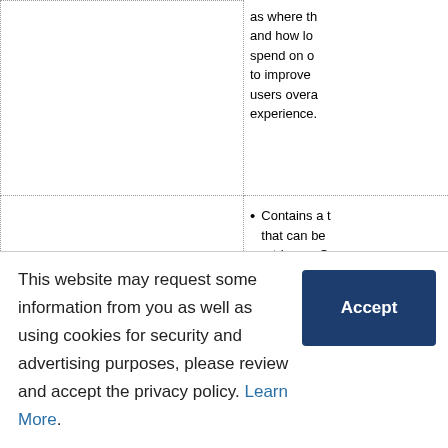|  | as where th and how lo spend on o to improve users overa experience. |
|  | Contains a that can be retrieve a C from MR |
Contains a that can be retrieve a C from MR
This website may request some information from you as well as using cookies for security and advertising purposes, please review and accept the privacy policy. Learn More.